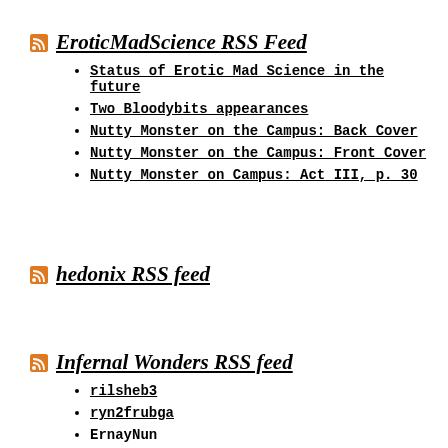EroticMadScience RSS Feed
Status of Erotic Mad Science in the future
Two Bloodybits appearances
Nutty Monster on the Campus: Back Cover
Nutty Monster on the Campus: Front Cover
Nutty Monster on Campus: Act III, p. 30
hedonix RSS feed
Infernal Wonders RSS feed
rilsheb3
ryn2frubga
ErnayNun